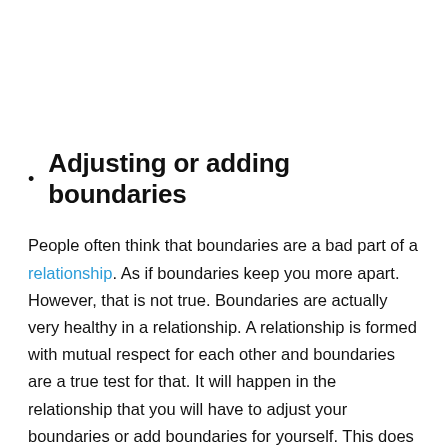Adjusting or adding boundaries
People often think that boundaries are a bad part of a relationship. As if boundaries keep you more apart. However, that is not true. Boundaries are actually very healthy in a relationship. A relationship is formed with mutual respect for each other and boundaries are a true test for that. It will happen in the relationship that you will have to adjust your boundaries or add boundaries for yourself. This does not mean that the other person doesn't like you but it's just that they respect their values more. For example, a boundary can be in a way that a person doesn't like to talk about